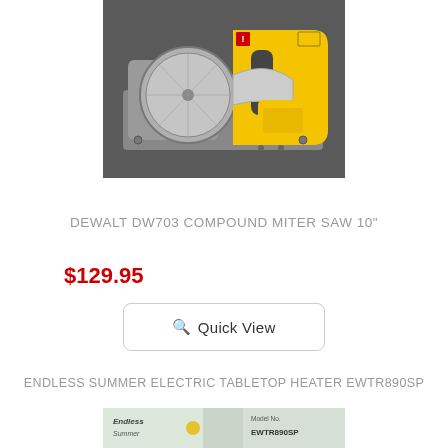[Figure (photo): Top-down photo of a DeWalt DW703 yellow and gray compound miter saw on a dark background]
DEWALT DW703 COMPOUND MITER SAW 10"
$129.95
Quick View
ENDLESS SUMMER ELECTRIC TABLETOP HEATER EWTR890SP
[Figure (photo): Partial photo of the Endless Summer electric tabletop heater product box showing model number EWTR890SP]